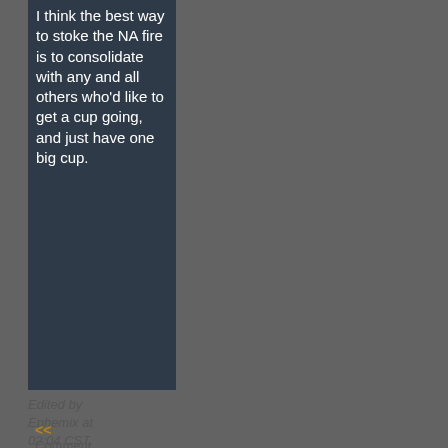I think the best way to stoke the NA fire is to consolidate with any and all others who'd like to get a cup going, and just have one big cup.
Edited by Ephemix at 02:04 CST, 8 January 2015
<< Comment